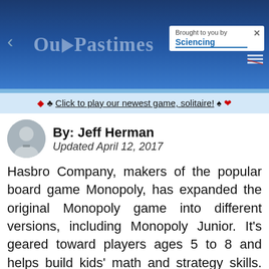[Figure (screenshot): Our Pastimes website header banner with logo, navigation arrow, and 'Brought to you by Sciencing' box]
♦ ♣ Click to play our newest game, solitaire! ♠ ♥
By: Jeff Herman
Updated April 12, 2017
Hasbro Company, makers of the popular board game Monopoly, has expanded the original Monopoly game into different versions, including Monopoly Junior. It's geared toward players ages 5 to 8 and helps build kids' math and strategy skills. As of April 2011, Hasbro has released three different versions of Monopoly Junior: the original game, Disney Princess and Junior Disney. The rules in all three are the same.